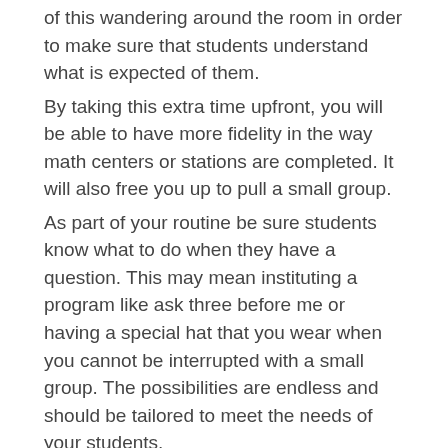of this wandering around the room in order to make sure that students understand what is expected of them.
By taking this extra time upfront, you will be able to have more fidelity in the way math centers or stations are completed. It will also free you up to pull a small group.
As part of your routine be sure students know what to do when they have a question. This may mean instituting a program like ask three before me or having a special hat that you wear when you cannot be interrupted with a small group. The possibilities are endless and should be tailored to meet the needs of your students.
Ready to Get Started